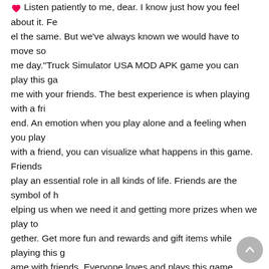❤ Listen patiently to me, dear. I know just how you feel about it. Feel the same. But we've always known we would have to move some day."Truck Simulator USA MOD APK game you can play this game with your friends. The best experience is when playing with a friend. An emotion when you play alone and a feeling when you play with a friend, you can visualize what happens in this game. Friends play an essential role in all kinds of life. Friends are the symbol of helping us when we need it and getting more prizes when we play together. Get more fun and rewards and gift items while playing this game with friends. Everyone loves and plays this game because more items than needed are readily available. There are plenty of places to drive. The seats are all located in a mesmerizing way to the eye.
&#;Merge Islands(mod)Misfortune tests the sincerity of friends.Battle Simulator: Counter Zombie Mod Battle Simulator: Counter Zombie v1.07 Imposing currency use Features:Imposing currency useaction app/game Battle Simulator: Counter Zombie v1.07 Imposing cur